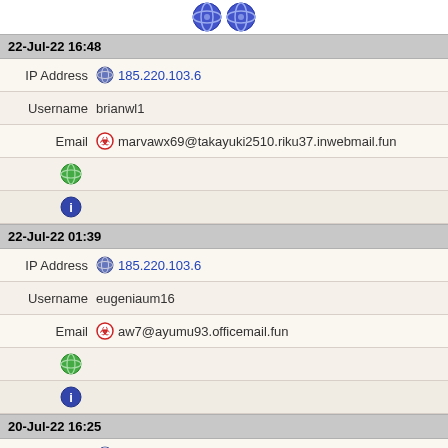[Figure (other): Two blue/purple browser-like icons at top]
22-Jul-22 16:48
IP Address  185.220.103.6
Username  brianwl1
Email  marvawx69@takayuki2510.riku37.inwebmail.fun
[Figure (other): Green globe icon]
[Figure (other): Dark blue circle with i icon]
22-Jul-22 01:39
IP Address  185.220.103.6
Username  eugeniaum16
Email  aw7@ayumu93.officemail.fun
[Figure (other): Green globe icon]
[Figure (other): Dark blue circle with i icon]
20-Jul-22 16:25
IP Address  185.220.103.6
Username  gracieua2
Email  lucindaga4@hiraku7510.satoshi62.officemail.fun